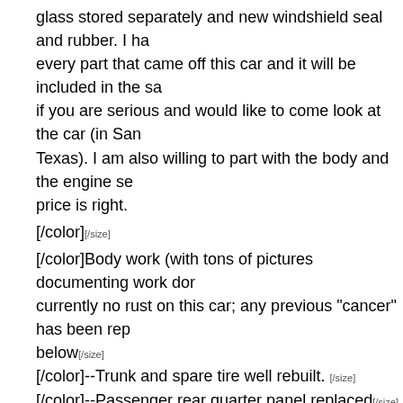glass stored separately and new windshield seal and rubber. I ha every part that came off this car and it will be included in the sa if you are serious and would like to come look at the car (in San Texas). I am also willing to part with the body and the engine se price is right.
[/color][/size]
[/color]Body work (with tons of pictures documenting work dor currently no rust on this car; any previous "cancer" has been rep below[/size]
[/color]--Trunk and spare tire well rebuilt. [/size]
[/color]--Passenger rear quarter panel replaced[/size]
[/color]--Floor pans replaced[/size]
[/color]--Cowl vent opened up and sheet metal replaced.[/size]
[/color]--Doors have had sheet metal replaced for spot rust[/size]
[/color]--New (OEM) hood[/size]
[/color]--Headlights and bumpers have been converted to look l small bumpers (instead of the big clunky 1976 bumpers)[/size]
[/color][/size]
[/color]Suspension/Brakes:[/size]
[/color]--Front brakes converted to 11" Rotors from Mustang II